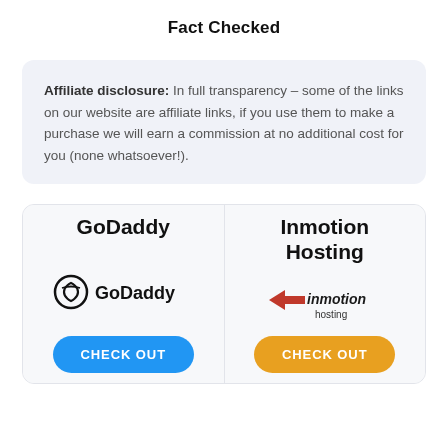Fact Checked
Affiliate disclosure: In full transparency – some of the links on our website are affiliate links, if you use them to make a purchase we will earn a commission at no additional cost for you (none whatsoever!).
[Figure (infographic): Two-column comparison box. Left: GoDaddy logo and CHECK OUT button (blue). Right: Inmotion Hosting logo and CHECK OUT button (orange).]